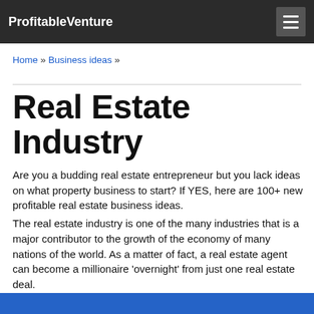ProfitableVenture
Home » Business ideas »
Real Estate Industry
Are you a budding real estate entrepreneur but you lack ideas on what property business to start? If YES, here are 100+ new profitable real estate business ideas.
The real estate industry is one of the many industries that is a major contributor to the growth of the economy of many nations of the world. As a matter of fact, a real estate agent can become a millionaire 'overnight' from just one real estate deal.
It is little wonder that the industry is responsible for making many instant millionaires in the united states of America, as well as the rest of the world.